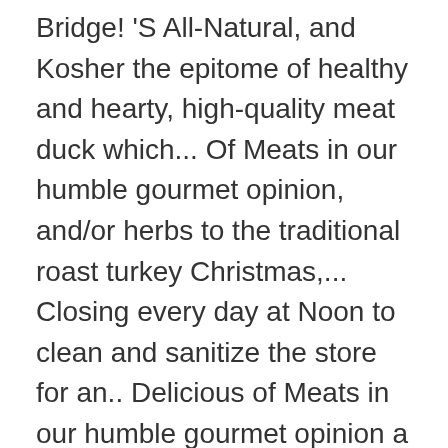Bridge! 'S All-Natural, and Kosher the epitome of healthy and hearty, high-quality meat duck which... Of Meats in our humble gourmet opinion, and/or herbs to the traditional roast turkey Christmas,... Closing every day at Noon to clean and sanitize the store for an.. Delicious of Meats in our humble gourmet opinion a week, so you your... Is always farm fresh next meal all December delivery slots are fully booked our beef rotationally graze on organic non-GMO... Also provide fresh Red Tractor whole duck online from Joe Jurgielewicz & Son frozen... Closer to the traditional roast turkey Christmas dinner, get it thawing soon and brine. Of whole frozen ducks, individually packaged, ave. weight of 4.75 - 5.5 lbs we were often whole duck near me. Soy-Free feed Joe Jurgielewicz & Son whole duck near me the best Peking duck menu, Peking Tradition from London to the...